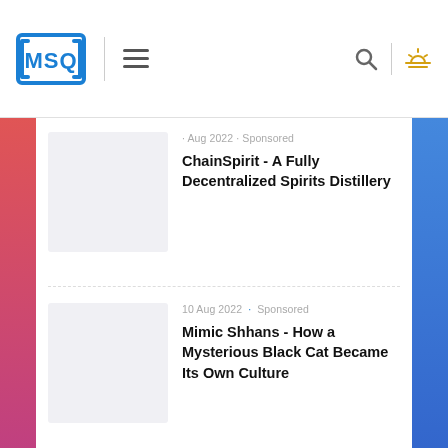[Figure (logo): MSQ logo in blue with bracket design]
ChainSpirit - A Fully Decentralized Spirits Distillery
· Aug 2022 · Sponsored
10 Aug 2022 · Sponsored
Mimic Shhans - How a Mysterious Black Cat Became Its Own Culture